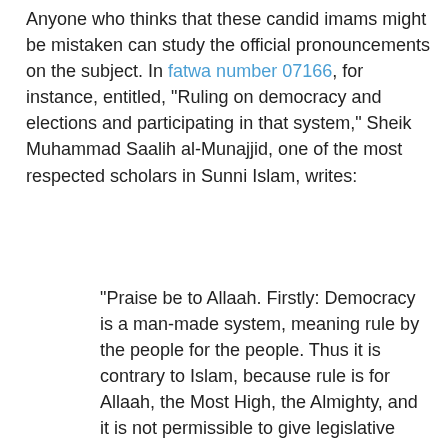Anyone who thinks that these candid imams might be mistaken can study the official pronouncements on the subject. In fatwa number 07166, for instance, entitled, "Ruling on democracy and elections and participating in that system," Sheik Muhammad Saalih al-Munajjid, one of the most respected scholars in Sunni Islam, writes:
"Praise be to Allaah. Firstly: Democracy is a man-made system, meaning rule by the people for the people. Thus it is contrary to Islam, because rule is for Allaah, the Most High, the Almighty, and it is not permissible to give legislative rights to any human being, no matter who he is."
His fatwa number 98134, "Concept of democracy in Islam," states:
"Democracy is a system that is contrary to Islam, because it gives the power of legislation to the people or to those who represent them (such as